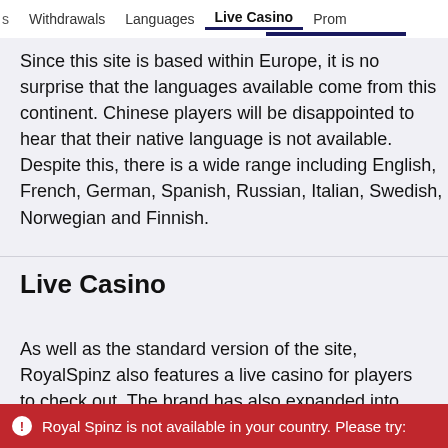s   Withdrawals   Languages   Live Casino   Prom
Since this site is based within Europe, it is no surprise that the languages available come from this continent. Chinese players will be disappointed to hear that their native language is not available. Despite this, there is a wide range including English, French, German, Spanish, Russian, Italian, Swedish, Norwegian and Finnish.
Live Casino
As well as the standard version of the site, RoyalSpinz also features a live casino for players to check out. The brand has also expanded into the mobile market by releasing a downloadable version, which means that numerous games are
Royal Spinz is not available in your country. Please try: